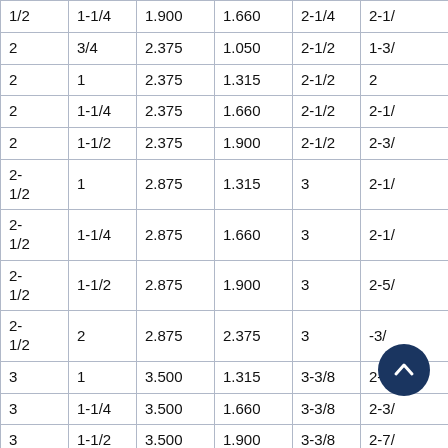| 1/2 | 1-1/4 | 1.900 | 1.660 | 2-1/4 | 2-1... |
| 2 | 3/4 | 2.375 | 1.050 | 2-1/2 | 1-3/... |
| 2 | 1 | 2.375 | 1.315 | 2-1/2 | 2 |
| 2 | 1-1/4 | 2.375 | 1.660 | 2-1/2 | 2-1/... |
| 2 | 1-1/2 | 2.375 | 1.900 | 2-1/2 | 2-3/... |
| 2-1/2 | 1 | 2.875 | 1.315 | 3 | 2-1/... |
| 2-1/2 | 1-1/4 | 2.875 | 1.660 | 3 | 2-1/... |
| 2-1/2 | 1-1/2 | 2.875 | 1.900 | 3 | 2-5/... |
| 2-1/2 | 2 | 2.875 | 2.375 | 3 | ...3/... |
| 3 | 1 | 3.500 | 1.315 | 3-3/8 | 2-5/... |
| 3 | 1-1/4 | 3.500 | 1.660 | 3-3/8 | 2-3/... |
| 3 | 1-1/2 | 3.500 | 1.900 | 3-3/8 | 2-7/... |